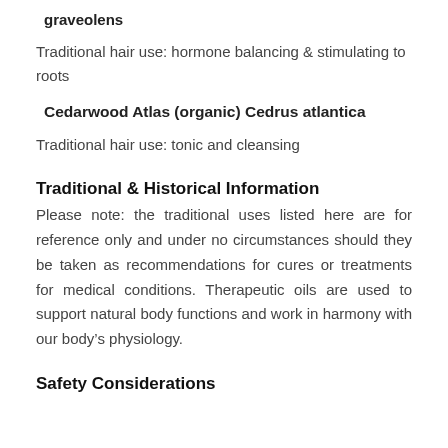graveolens
Traditional hair use: hormone balancing & stimulating to roots
Cedarwood Atlas (organic) Cedrus atlantica
Traditional hair use: tonic and cleansing
Traditional & Historical Information
Please note: the traditional uses listed here are for reference only and under no circumstances should they be taken as recommendations for cures or treatments for medical conditions. Therapeutic oils are used to support natural body functions and work in harmony with our body's physiology.
Safety Considerations